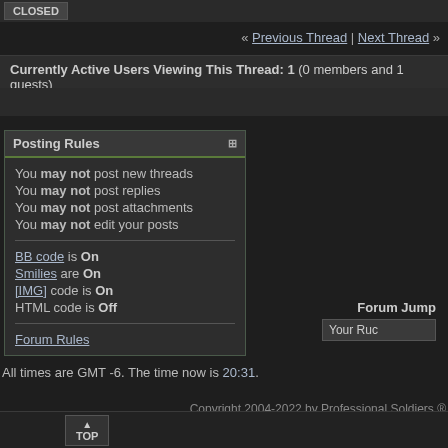CLOSED
« Previous Thread | Next Thread »
Currently Active Users Viewing This Thread: 1 (0 members and 1 guests)
Posting Rules
You may not post new threads
You may not post replies
You may not post attachments
You may not edit your posts
BB code is On
Smilies are On
[IMG] code is On
HTML code is Off
Forum Rules
Forum Jump  Your Ruc
All times are GMT -6. The time now is 20:31.
Copyright 2004-2022 by Professional Soldiers ® Site Designed, Maintained, & Hosted by Hilliker Techno
▲ TOP